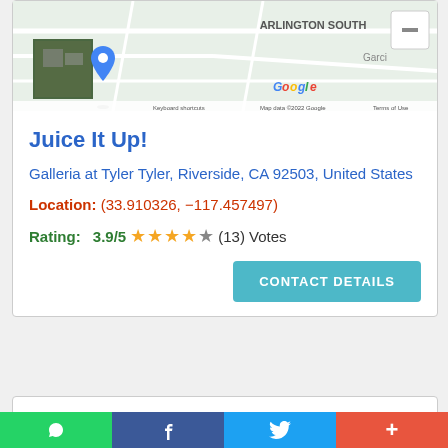[Figure (map): Google Maps screenshot showing Arlington South area, Riverside CA with a location pin marker and street map view]
Juice It Up!
Galleria at Tyler Tyler, Riverside, CA 92503, United States
Location: (33.910326, −117.457497)
Rating: 3.9/5 ★★★★☆ (13) Votes
CONTACT DETAILS